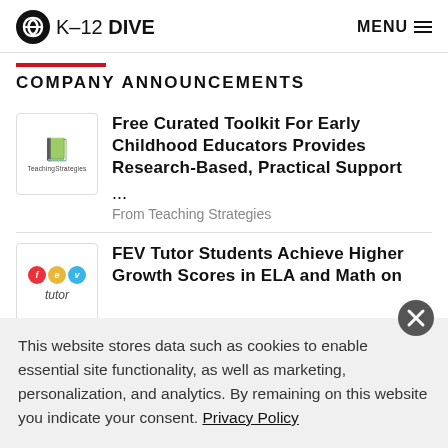K-12 DIVE | MENU
COMPANY ANNOUNCEMENTS
[Figure (logo): Teaching Strategies logo — book icon with 'TeachingStrategies' text]
Free Curated Toolkit For Early Childhood Educators Provides Research-Based, Practical Support ...
From Teaching Strategies
[Figure (logo): FEV Tutor logo — three colored circles (red f, yellow e, blue v) with 'tutor' text]
FEV Tutor Students Achieve Higher Growth Scores in ELA and Math on
This website stores data such as cookies to enable essential site functionality, as well as marketing, personalization, and analytics. By remaining on this website you indicate your consent. Privacy Policy